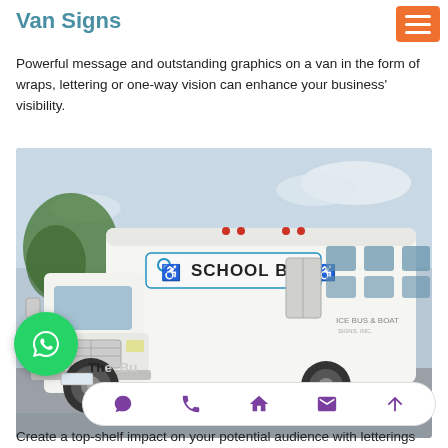Van Signs
Powerful message and outstanding graphics on a van in the form of wraps, lettering or one-way vision can enhance your business' visibility.
[Figure (photo): White school bus with 'SCHOOL BUS' lettering and disability icons on the front, parked in a lot with trees and sky in background.]
The Bu   Create a top-shelf impact on your potential audience with letterings